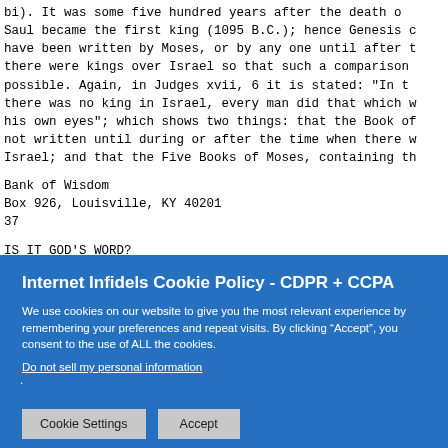bi). It was some five hundred years after the death of Saul became the first king (1095 B.C.); hence Genesis co have been written by Moses, or by any one until after t there were kings over Israel so that such a comparison c possible. Again, in Judges xvii, 6 it is stated: "In th there was no king in Israel, every man did that which wa his own eyes"; which shows two things: that the Book of not written until during or after the time when there we Israel; and that the Five Books of Moses, containing the
Bank of Wisdom
Box 926, Louisville, KY 40201
37
IS IT GOD'S WORD?
Yahveh, were not written by Moses, and that the "law" c
Internet Infidels Cookie Policy - CDPR + CCPA
We use cookies on our website to give you the most relevant experience by remembering your preferences and repeat visits. By clicking “Accept”, you consent to the use of ALL the cookies.
Do not sell my personal information.
Cookie Settings   Accept